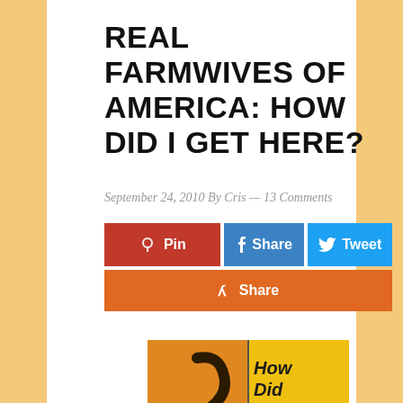REAL FARMWIVES OF AMERICA: HOW DID I GET HERE?
September 24, 2010 By Cris — 13 Comments
[Figure (other): Social sharing buttons: Pin (red/Pinterest), Share (blue/Facebook), Tweet (light blue/Twitter), Share (orange/Yummly)]
[Figure (illustration): Book cover image for 'Real Farmwives of America: How Did I Get Here?' showing a question mark with a dragonfly on an orange background on the left panel, and 'How Did I Get Here?' handwritten text on yellow background on right panel, with 'the Real Farmwives OF AMERICA' text at bottom]